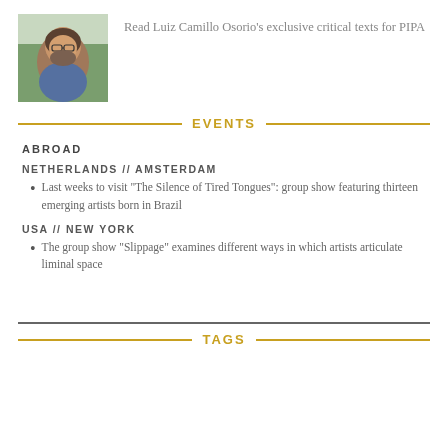[Figure (photo): Portrait photo of a bearded man wearing glasses and a blue shirt, seated at a table outdoors]
Read Luiz Camillo Osorio's exclusive critical texts for PIPA
EVENTS
ABROAD
NETHERLANDS // AMSTERDAM
Last weeks to visit "The Silence of Tired Tongues": group show featuring thirteen emerging artists born in Brazil
USA // NEW YORK
The group show "Slippage" examines different ways in which artists articulate liminal space
TAGS